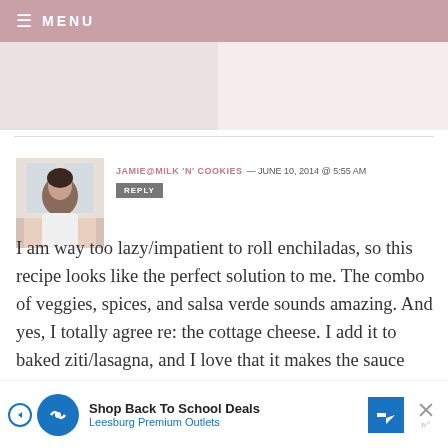≡ MENU
[Figure (photo): Screenshot of a blog comment section with a blurred image area at top]
JAMIE@MILK 'N' COOKIES — JUNE 10, 2014 @ 5:55 AM
REPLY
I am way too lazy/impatient to roll enchiladas, so this recipe looks like the perfect solution to me. The combo of veggies, spices, and salsa verde sounds amazing. And yes, I totally agree re: the cottage cheese. I add it to baked ziti/lasagna, and I love that it makes the sauce slightly creamier without adding a lot of fat. I bet it's fantastic in this!
[Figure (screenshot): Advertisement banner: Shop Back To School Deals - Leesburg Premium Outlets]